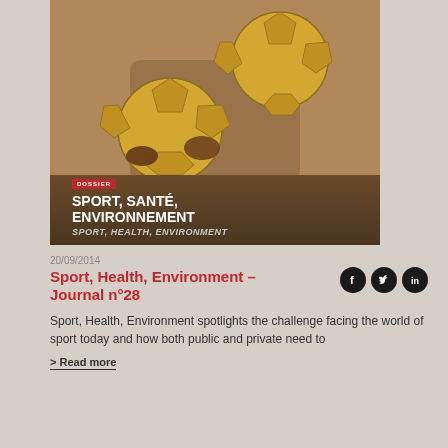[Figure (photo): Child holding two yellow soccer/footballs, with text overlay showing 'DOSSIER' badge, title 'SPORT, SANTÉ, ENVIRONNEMENT' and subtitle 'SPORT, HEALTH, ENVIRONMENT']
20/09/2014
Sport, Health, Environment – Journal n°28
Sport, Health, Environment spotlights the challenge facing the world of sport today and how both public and private need to
> Read more